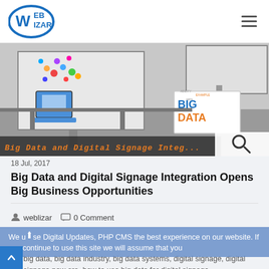WebLizar
[Figure (photo): Hero image showing digital billboard displays with Big Data themed signage and a computer with social media icons in a grayscale outdoor setting. Orange italic text at bottom reads 'Big Data and Digital Signage Integ...']
18 Jul, 2017
Big Data and Digital Signage Integration Opens Big Business Opportunities
weblizar   0 Comment
We use Digital Updates, PHP CMS the best experience on our website. If you continue to use this site we will assume that you
big data, big data industry, big data systems, digital signage, digital signage new era, how to use big data for digital signage